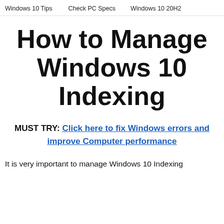Windows 10 Tips   Check PC Specs   Windows 10 20H2
How to Manage Windows 10 Indexing
MUST TRY: Click here to fix Windows errors and improve Computer performance
It is very important to manage Windows 10 Indexing